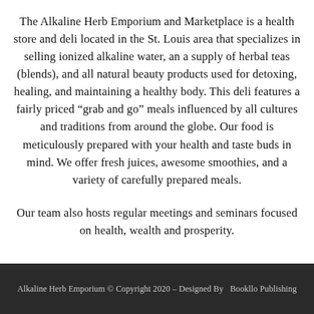The Alkaline Herb Emporium and Marketplace is a health store and deli located in the St. Louis area that specializes in selling ionized alkaline water, an a supply of herbal teas (blends), and all natural beauty products used for detoxing, healing, and maintaining a healthy body. This deli features a fairly priced “grab and go” meals influenced by all cultures and traditions from around the globe. Our food is meticulously prepared with your health and taste buds in mind. We offer fresh juices, awesome smoothies, and a variety of carefully prepared meals.
Our team also hosts regular meetings and seminars focused on health, wealth and prosperity.
Alkaline Herb Emporium © Copyright 2020 – Designed By  Bookllo Publishing